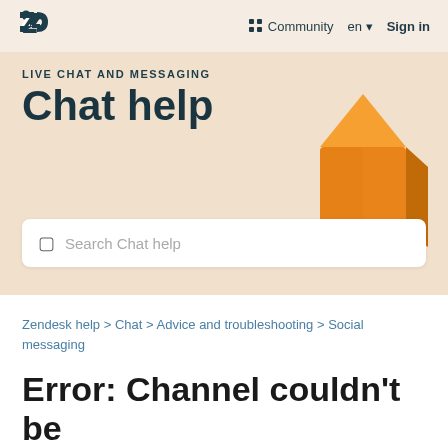Zendesk logo | Community en ▾ Sign in
LIVE CHAT AND MESSAGING
Chat help
Search Chat help
Zendesk help > Chat > Advice and troubleshooting > Social messaging
Error: Channel couldn't be